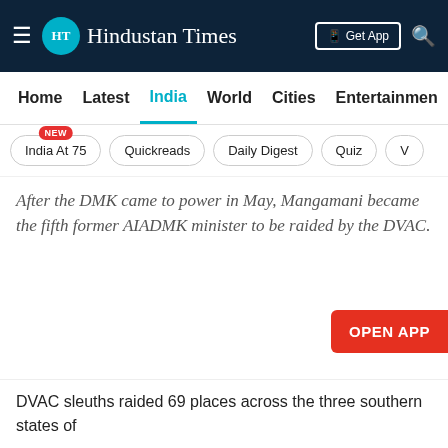Hindustan Times
Home | Latest | India | World | Cities | Entertainment
India At 75 NEW | Quickreads | Daily Digest | Quiz
After the DMK came to power in May, Mangamani became the fifth former AIADMK minister to be raided by the DVAC.
DVAC sleuths raided 69 places across the three southern states of